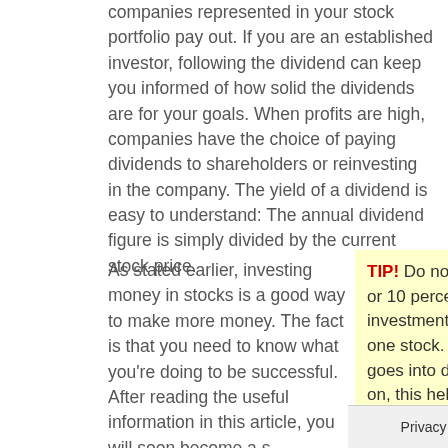companies represented in your stock portfolio pay out. If you are an established investor, following the dividend can keep you informed of how solid the dividends are for your goals. When profits are high, companies have the choice of paying dividends to shareholders or reinvesting in the company. The yield of a dividend is easy to understand: The annual dividend figure is simply divided by the current stock price.
As stated earlier, investing money in stocks is a good way to make more money. The fact is that you need to know what you're doing to be successful. After reading the useful information in this article, you will soon become a stock market guru!
TIP! Do not put over 5 or 10 percent of your investment capital into one stock. If the stock goes into decline later on, this helps you greatly reduce
Privacy & Cookies Policy